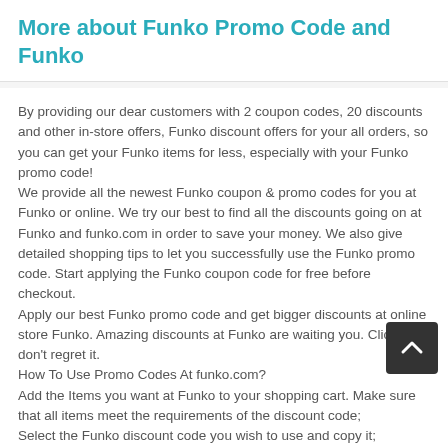More about Funko Promo Code and Funko
By providing our dear customers with 2 coupon codes, 20 discounts and other in-store offers, Funko discount offers for your all orders, so you can get your Funko items for less, especially with your Funko promo code!
We provide all the newest Funko coupon & promo codes for you at Funko or online. We try our best to find all the discounts going on at Funko and funko.com in order to save your money. We also give detailed shopping tips to let you successfully use the Funko promo code. Start applying the Funko coupon code for free before checkout.
Apply our best Funko promo code and get bigger discounts at online store Funko. Amazing discounts at Funko are waiting you. Click now, don't regret it.
How To Use Promo Codes At funko.com?
Add the Items you want at Funko to your shopping cart. Make sure that all items meet the requirements of the discount code;
Select the Funko discount code you wish to use and copy it;